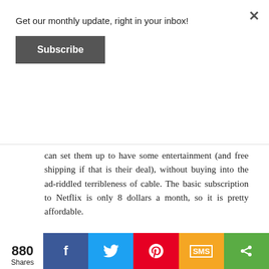Get our monthly update, right in your inbox!
Subscribe
can set them up to have some entertainment (and free shipping if that is their deal), without buying into the ad-riddled terribleness of cable. The basic subscription to Netflix is only 8 dollars a month, so it is pretty affordable.
[Figure (photo): A bedroom scene with a standing fan and a person lying on a wooden surface, white wall in background.]
880 Shares